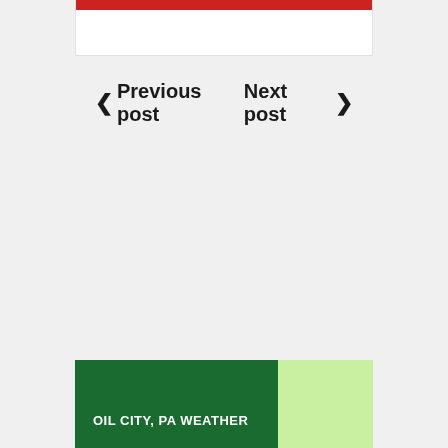[Figure (screenshot): Top card with red bar at top, partial white card visible]
< Previous post    Next post >
OIL CITY, PA WEATHER